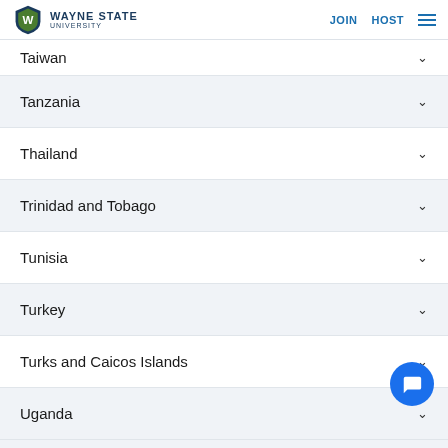Wayne State University — JOIN HOST
Taiwan
Tanzania
Thailand
Trinidad and Tobago
Tunisia
Turkey
Turks and Caicos Islands
Uganda
Ukraine
United Arab Emirates